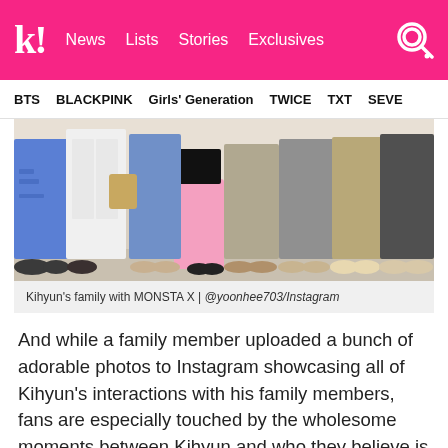k! News Lists Stories Exclusives
BTS BLACKPINK Girls' Generation TWICE TXT SEVE
[Figure (photo): Group photo showing legs and lower bodies of multiple people standing together, likely Kihyun's family with MONSTA X members]
Kihyun's family with MONSTA X | @yoonhee703/Instagram
And while a family member uploaded a bunch of adorable photos to Instagram showcasing all of Kihyun's interactions with his family members, fans are especially touched by the wholesome moments between Kihyun and who they believe is Kihyun's grandmother.